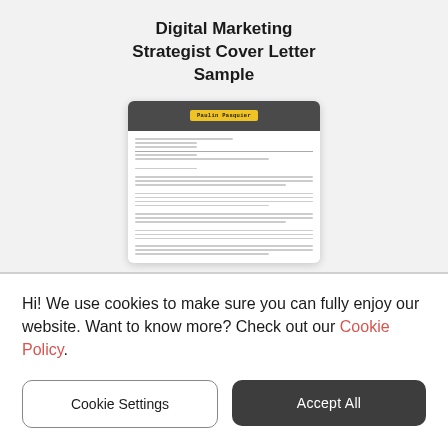Digital Marketing Strategist Cover Letter Sample
[Figure (illustration): Preview thumbnail of a cover letter document for 'Paulin Pasquier' with a dark gray header bar and yellow name badge, followed by body text lines.]
Hi! We use cookies to make sure you can fully enjoy our website. Want to know more? Check out our Cookie Policy.
Cookie Settings
Accept All